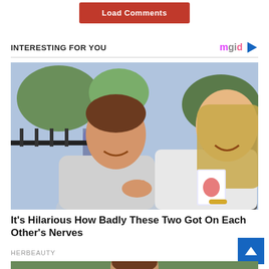[Figure (other): Red 'Load Comments' button]
INTERESTING FOR YOU
[Figure (photo): A man and a woman smiling and laughing together outdoors, the man pointing, the woman holding playing cards]
It's Hilarious How Badly These Two Got On Each Other's Nerves
HERBEAUTY
[Figure (photo): Partial photo of a person outdoors with green background, partially visible at bottom of page]